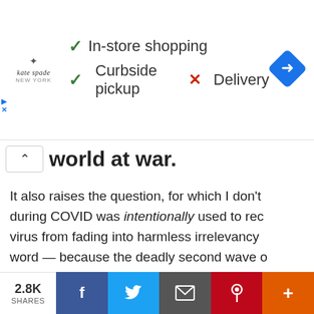[Figure (screenshot): Ad banner for kate spade new york showing In-store shopping (checkmark), Curbside pickup (checkmark), Delivery (X mark), and a Google Maps navigation icon.]
world at war.
It also raises the question, for which I don't during COVID was intentionally used to rec virus from fading into harmless irrelevancy word — because the deadly second wave o secrets in the medical community. You'd ha incompetent idiot, or a cynical bastard with virus-amplifying conditions. Yet that's what to do, while shamelessly hyperventilating a medical tyranny based on mandatory vacci
2.8K SHARES  f  Twitter  Email  Pinterest  +